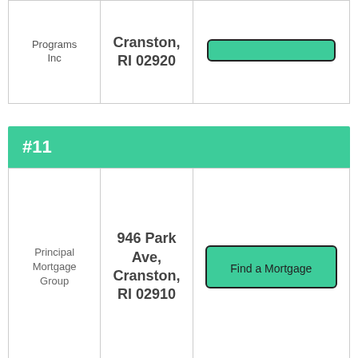| Name | Address | Action |
| --- | --- | --- |
| Programs Inc | Cranston, RI 02920 | Find a Mortgage |
#11
| Name | Address | Action |
| --- | --- | --- |
| Principal Mortgage Group | 946 Park Ave, Cranston, RI 02910 | Find a Mortgage |